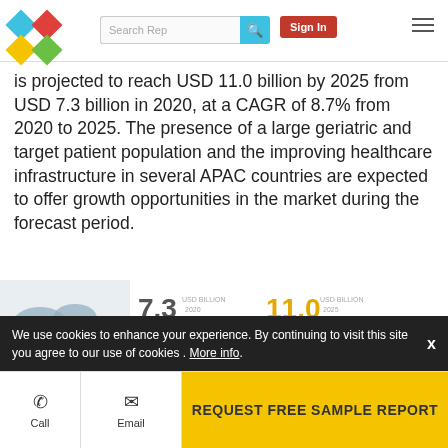Search Rep | Sign In
is projected to reach USD 11.0 billion by 2025 from USD 7.3 billion in 2020, at a CAGR of 8.7% from 2020 to 2025. The presence of a large geriatric and target patient population and the improving healthcare infrastructure in several APAC countries are expected to offer growth opportunities in the market during the forecast period.
[Figure (infographic): Market infographic showing 7.3 USD Billion (2020) and 11.0 USD Billion (2025) with CAGR 8.7%. World map with note about emerging economies such as China and India offering significant growth opportunities for players. Text: The osteoarthritis therapeutics market is projected to reach USD 11.0 billion by 2025 from USD 7.3 billion in 2020, at a CAGR of 8.7%. Market growth can be attributed to the significant adoption of pain medications, increasing prevalence of osteoarthritis, growth of the...]
We use cookies to enhance your experience. By continuing to visit this site you agree to our use of cookies . More info.
Call | Email | REQUEST FREE SAMPLE REPORT